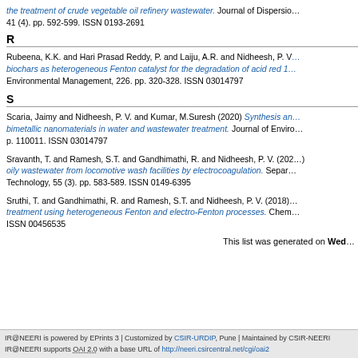the treatment of crude vegetable oil refinery wastewater. Journal of Dispersion Science and Technology, 41 (4). pp. 592-599. ISSN 0193-2691
R
Rubeena, K.K. and Hari Prasad Reddy, P. and Laiju, A.R. and Nidheesh, P. V. biochars as heterogeneous Fenton catalyst for the degradation of acid red 1 Environmental Management, 226. pp. 320-328. ISSN 03014797
S
Scaria, Jaimy and Nidheesh, P. V. and Kumar, M.Suresh (2020) Synthesis and application of bimetallic nanomaterials in water and wastewater treatment. Journal of Environmental Management, p. 110011. ISSN 03014797
Sravanth, T. and Ramesh, S.T. and Gandhimathi, R. and Nidheesh, P. V. (2020) oily wastewater from locomotive wash facilities by electrocoagulation. Separation and Purification Technology, 55 (3). pp. 583-589. ISSN 0149-6395
Sruthi, T. and Gandhimathi, R. and Ramesh, S.T. and Nidheesh, P. V. (2018) treatment using heterogeneous Fenton and electro-Fenton processes. Chemosphere. ISSN 00456535
This list was generated on Wed
IR@NEERI is powered by EPrints 3 | Customized by CSIR-URDIP, Pune | Maintained by CSIR-NEERI
IR@NEERI supports OAI 2.0 with a base URL of http://neeri.csircentral.net/cgi/oai2